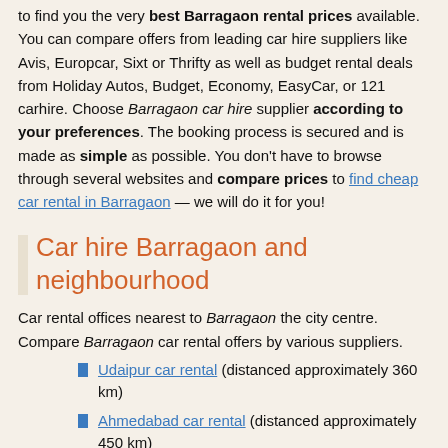to find you the very best Barragaon rental prices available. You can compare offers from leading car hire suppliers like Avis, Europcar, Sixt or Thrifty as well as budget rental deals from Holiday Autos, Budget, Economy, EasyCar, or 121 carhire. Choose Barragaon car hire supplier according to your preferences. The booking process is secured and is made as simple as possible. You don't have to browse through several websites and compare prices to find cheap car rental in Barragaon — we will do it for you!
Car hire Barragaon and neighbourhood
Car rental offices nearest to Barragaon the city centre. Compare Barragaon car rental offers by various suppliers.
Udaipur car rental (distanced approximately 360 km)
Ahmedabad car rental (distanced approximately 450 km)
Ahmedabad - Airport car rental (distanced approximately 450 km)